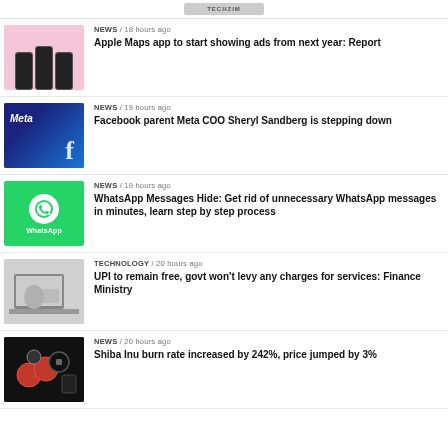TECHZIM
NEWS / 18 hours ago
Apple Maps app to start showing ads from next year: Report
NEWS / 19 hours ago
Facebook parent Meta COO Sheryl Sandberg is stepping down
NEWS / 19 hours ago
WhatsApp Messages Hide: Get rid of unnecessary WhatsApp messages in minutes, learn step by step process
TECHNOLOGY / 20 hours ago
UPI to remain free, govt won't levy any charges for services: Finance Ministry
NEWS / 20 hours ago
Shiba Inu burn rate increased by 242%, price jumped by 3%